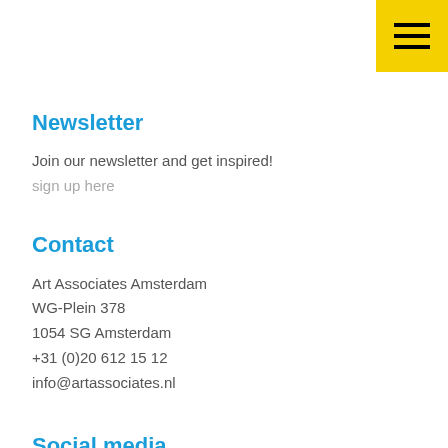[Figure (other): Yellow hamburger menu button in top right corner with three horizontal black bars]
Newsletter
Join our newsletter and get inspired!
sign up here
Contact
Art Associates Amsterdam
WG-Plein 378
1054 SG Amsterdam
+31 (0)20 612 15 12
info@artassociates.nl
Social media